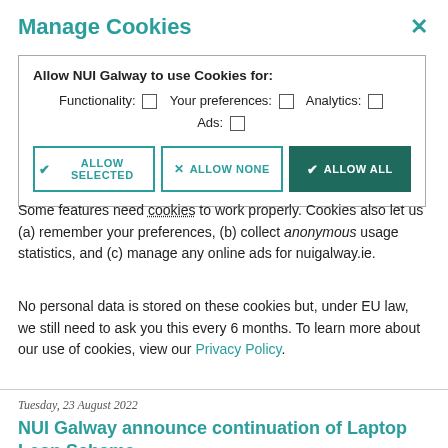Manage Cookies
[Figure (screenshot): Cookie consent dialog box for NUI Galway website with checkboxes for Functionality, Your preferences, Analytics, and Ads, and three buttons: Allow Selected, Allow None, Allow All]
Some features need cookies to work properly. Cookies also let us (a) remember your preferences, (b) collect anonymous usage statistics, and (c) manage any online ads for nuigalway.ie.
No personal data is stored on these cookies but, under EU law, we still need to ask you this every 6 months. To learn more about our use of cookies, view our Privacy Policy.
Tuesday, 23 August 2022
NUI Galway announce continuation of Laptop Loan Scheme